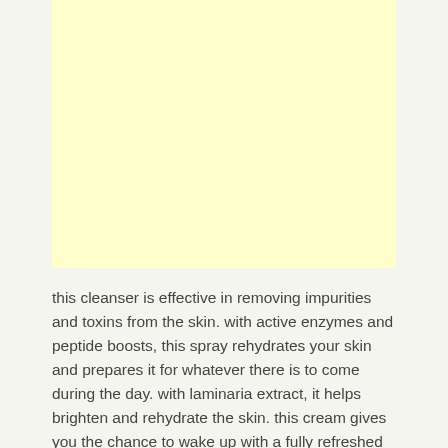[Figure (other): Light yellow rectangular placeholder image block]
this cleanser is effective in removing impurities and toxins from the skin. with active enzymes and peptide boosts, this spray rehydrates your skin and prepares it for whatever there is to come during the day. with laminaria extract, it helps brighten and rehydrate the skin. this cream gives you the chance to wake up with a fully refreshed and hydrated face in addition to giving its users a nourished, firm,